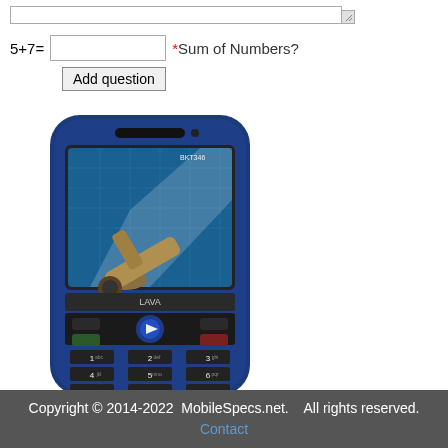5+7= [input field] *Sum of Numbers?
Add question
[Figure (photo): A blue Lava mobile phone with a telescope/cannon image on its screen, showing a full numeric keypad.]
Copyright © 2014-2022  MobileSpecs.net.   All rights reserved.
Contact